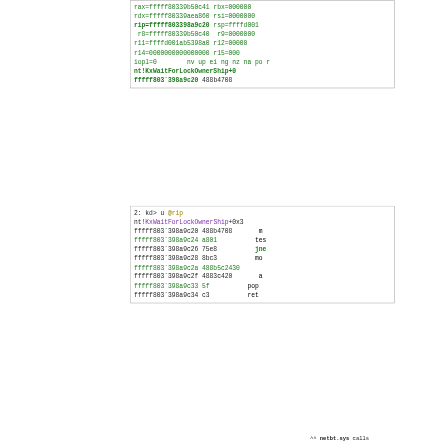[Figure (screenshot): Debugger output box 1 showing register dump with rip highlighted in bold green, and disassembly line for nt!KxWaitForLockOwnerShip+0 at fffff803`398a9c20]
[Figure (screenshot): Debugger output box 2: kd> u @rip command showing disassembly of nt!KxWaitForLockOwnerShip+0x3, with addresses fffff803`398a9c20 through 398a9c34, opcodes, and mnemonics including test, jne, mov, pop, ret]
^^ netbt.sys calls